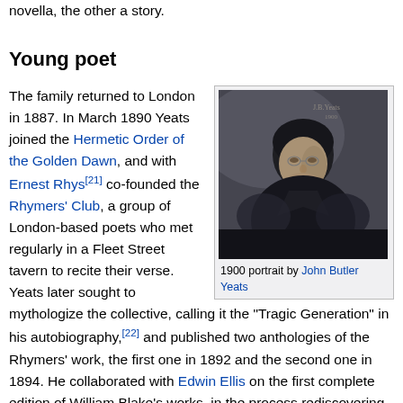novella, the other a story.
Young poet
[Figure (photo): 1900 portrait painting of W.B. Yeats by John Butler Yeats]
1900 portrait by John Butler Yeats
The family returned to London in 1887. In March 1890 Yeats joined the Hermetic Order of the Golden Dawn, and with Ernest Rhys[21] co-founded the Rhymers' Club, a group of London-based poets who met regularly in a Fleet Street tavern to recite their verse. Yeats later sought to mythologize the collective, calling it the "Tragic Generation" in his autobiography,[22] and published two anthologies of the Rhymers' work, the first one in 1892 and the second one in 1894. He collaborated with Edwin Ellis on the first complete edition of William Blake's works, in the process rediscovering a forgotten poem, "Vala, or, the Four Zoas".[23][24] In a late essay on Shelley, Yeats wrote, "I have re-read